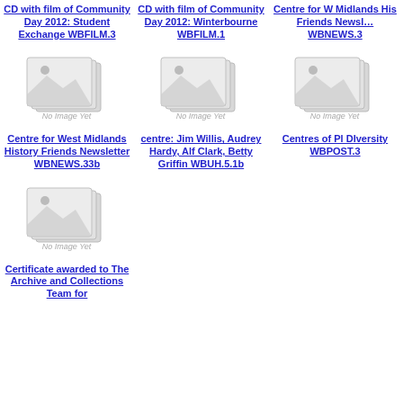CD with film of Community Day 2012: Student Exchange WBFILM.3
CD with film of Community Day 2012: Winterbourne WBFILM.1
Centre for West Midlands History Friends Newsletter WBNEWS.3
[Figure (photo): No Image Yet placeholder - stacked photos icon]
[Figure (photo): No Image Yet placeholder - stacked photos icon]
[Figure (photo): No Image Yet placeholder - stacked photos icon]
Centre for West Midlands History Friends Newsletter WBNEWS.33b
centre: Jim Willis, Audrey Hardy, Alf Clark, Betty Griffin WBUH.5.1b
Centres of Pl DIversity WBPOST.3
[Figure (photo): No Image Yet placeholder - stacked photos icon]
Certificate awarded to The Archive and Collections Team for